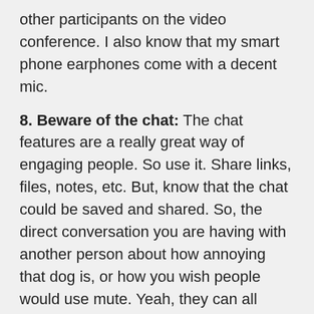other participants on the video conference. I also know that my smart phone earphones come with a decent mic.
8. Beware of the chat: The chat features are a really great way of engaging people. So use it. Share links, files, notes, etc. But, know that the chat could be saved and shared. So, the direct conversation you are having with another person about how annoying that dog is, or how you wish people would use mute. Yeah, they can all become part of the meeting minutes at the end. And everyone could see what you've written.
9. Polls and breakout rooms increase participation: Within video conferences, as I've eluded to above, it can be difficult to engage the audience. Polls are a useful way of bringing people